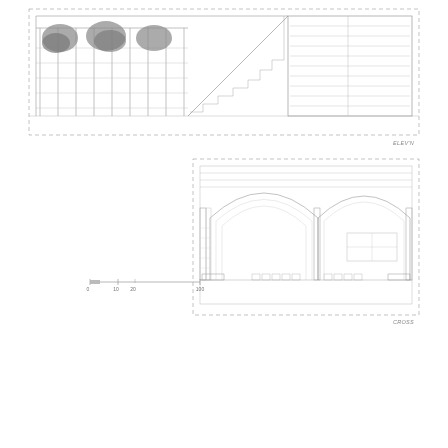[Figure (engineering-diagram): Architectural elevation/section drawing of a building facade showing trees/vegetation on the left, structural columns, staircase with diagonal lines, and a rectangular module on the right with horizontal banding. Dashed border. Light grey line drawing.]
ELEV'N
[Figure (engineering-diagram): Architectural cross-section drawing showing interior of a building with two large arched vaults/domes, columns, seating elements, and detailed structural elements. Dashed border. Light grey line drawing.]
CROSS
[Figure (schematic): Scale bar with tick marks labeled 0, 10, 20 at left and 100 at right end.]